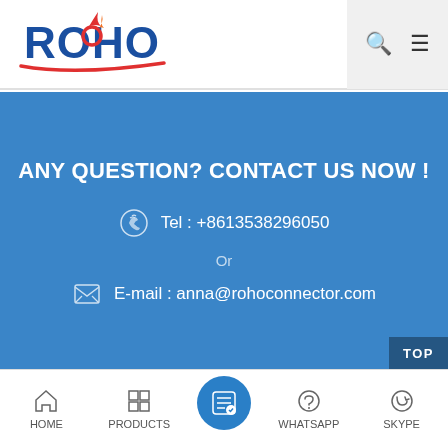[Figure (logo): ROHO company logo with stylized flame/swoosh in red and orange]
ANY QUESTION? CONTACT US NOW !
Tel : +8613538296050
Or
E-mail : anna@rohoconnector.com
TOP
SUBSCRIBE
HOME
PRODUCTS
WHATSAPP
SKYPE